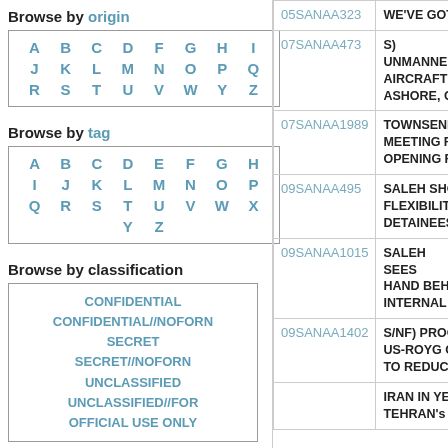Browse by origin
| A | B | C | D | F | G | H | I |
| J | K | L | M | N | O | P | Q |
| R | S | T | U | V | W | Y | Z |
Browse by tag
| A | B | C | D | E | F | G | H |
| I | J | K | L | M | N | O | P |
| Q | R | S | T | U | V | W | X |
|  |  |  | Y | Z |  |  |  |
Browse by classification
| CONFIDENTIAL |
| CONFIDENTIAL//NOFORN |
| SECRET |
| SECRET//NOFORN |
| UNCLASSIFIED |
| UNCLASSIFIED//FOR OFFICIAL USE ONLY |
Community resources
| Follow us on Twitter |
| Check our Reddit |
| ID | Title |
| --- | --- |
| 05SANAA323 | WE'VE GOT |
| 07SANAA473 | S) UNMANNED AIRCRAFT ASHORE, C |
| 07SANAA1989 | TOWNSEND MEETING R OPENING R |
| 09SANAA495 | SALEH SHOWS FLEXIBILITY DETAINEES |
| 09SANAA1015 | SALEH SEES HAND BEHIND INTERNAL |
| 09SANAA1402 | S/NF) PROC US-ROYG C TO REDUC |
|  | IRAN IN YE TEHRAN's |